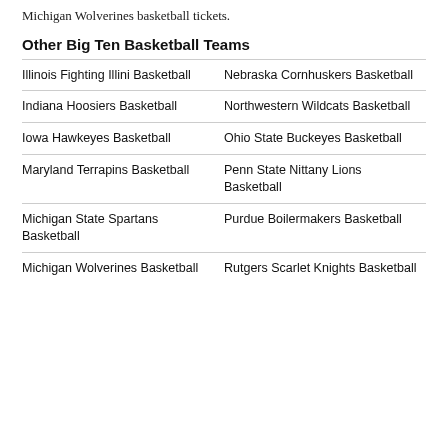Michigan Wolverines basketball tickets.
Other Big Ten Basketball Teams
| Left | Right |
| --- | --- |
| Illinois Fighting Illini Basketball | Nebraska Cornhuskers Basketball |
| Indiana Hoosiers Basketball | Northwestern Wildcats Basketball |
| Iowa Hawkeyes Basketball | Ohio State Buckeyes Basketball |
| Maryland Terrapins Basketball | Penn State Nittany Lions Basketball |
| Michigan State Spartans Basketball | Purdue Boilermakers Basketball |
| Michigan Wolverines Basketball | Rutgers Scarlet Knights Basketball |